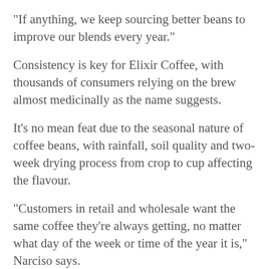"If anything, we keep sourcing better beans to improve our blends every year."
Consistency is key for Elixir Coffee, with thousands of consumers relying on the brew almost medicinally as the name suggests.
It's no mean feat due to the seasonal nature of coffee beans, with rainfall, soil quality and two-week drying process from crop to cup affecting the flavour.
"Customers in retail and wholesale want the same coffee they're always getting, no matter what day of the week or time of the year it is," Narciso says.
"Doctors have a duty of care to their patients, as we have a duty of care to our customers to make sure we're providing the best possible product we can.
"We continually taste it; every roast gets tested. We're cupping and tasting before the start of the week to make sure